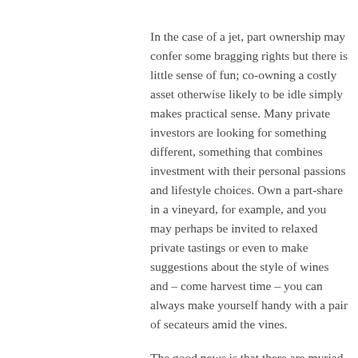In the case of a jet, part ownership may confer some bragging rights but there is little sense of fun; co-owning a costly asset otherwise likely to be idle simply makes practical sense. Many private investors are looking for something different, something that combines investment with their personal passions and lifestyle choices. Own a part-share in a vineyard, for example, and you may perhaps be invited to relaxed private tastings or even to make suggestions about the style of wines and – come harvest time – you can always make yourself handy with a pair of secateurs amid the vines.
The good news is that there are myriad investments out there,